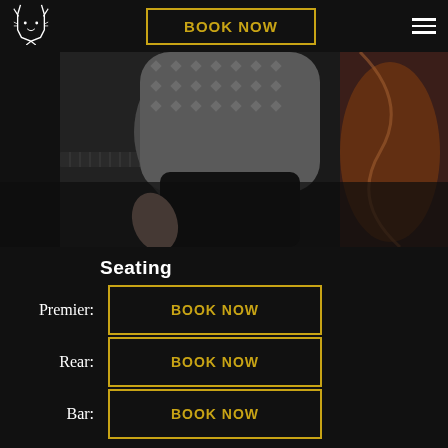[Figure (logo): Cat outline logo in white on dark background]
BOOK NOW
[Figure (photo): Musicians near a piano, one wearing a patterned sweater, another holding a cello, dark background]
Seating
Premier:
BOOK NOW
Rear:
BOOK NOW
Bar:
BOOK NOW